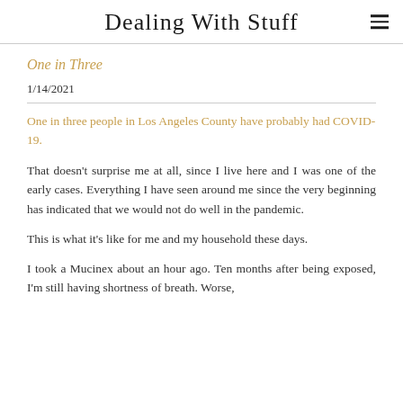Dealing With Stuff
One in Three
1/14/2021
One in three people in Los Angeles County have probably had COVID-19.
That doesn't surprise me at all, since I live here and I was one of the early cases. Everything I have seen around me since the very beginning has indicated that we would not do well in the pandemic.
This is what it's like for me and my household these days.
I took a Mucinex about an hour ago. Ten months after being exposed, I'm still having shortness of breath. Worse,